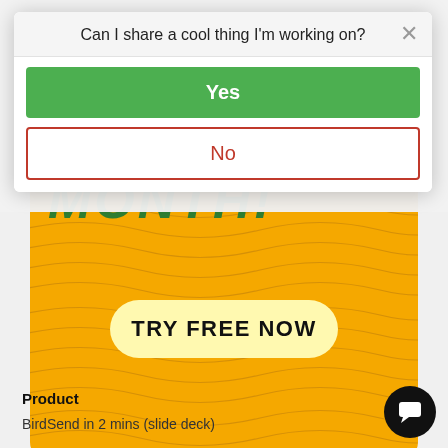[Figure (screenshot): Yellow promotional card with wavy line pattern and 'TRY FREE NOW' button, partially visible 'MONTH!' text in green italic]
Product
BirdSend in 2 mins (slide deck)
[Figure (screenshot): Modal dialog overlay asking 'Can I share a cool thing I'm working on?' with a green Yes button and red-bordered No button, and an X close button]
Can I share a cool thing I'm working on?
Yes
No